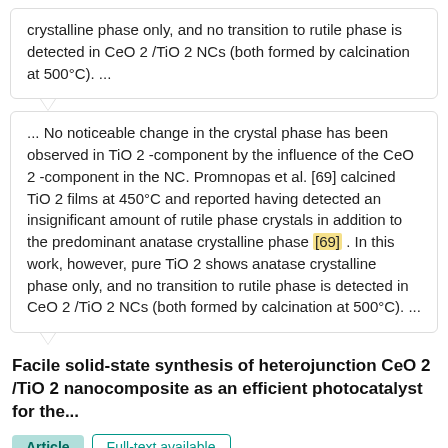crystalline phase only, and no transition to rutile phase is detected in CeO 2 /TiO 2 NCs (both formed by calcination at 500°C). ...
... No noticeable change in the crystal phase has been observed in TiO 2 -component by the influence of the CeO 2 -component in the NC. Promnopas et al. [69] calcined TiO 2 films at 450°C and reported having detected an insignificant amount of rutile phase crystals in addition to the predominant anatase crystalline phase [69] . In this work, however, pure TiO 2 shows anatase crystalline phase only, and no transition to rutile phase is detected in CeO 2 /TiO 2 NCs (both formed by calcination at 500°C). ...
Facile solid-state synthesis of heterojunction CeO 2 /TiO 2 nanocomposite as an efficient photocatalyst for the...
Article
Full-text available
Aug 2021 · DESALIN WATER TREAT
Md Anisur Rahman · Md. Tamez Uddin · Md. Akhtarul Islam · Shafiul Hossain
View · Show abstract